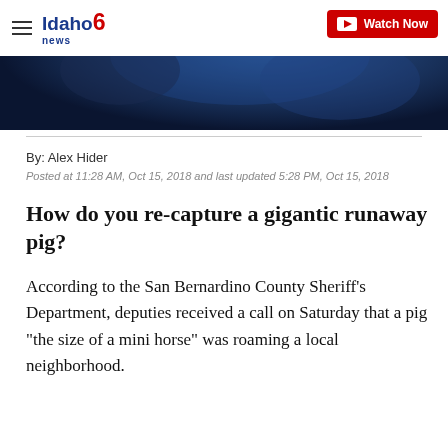Idaho news6 | Watch Now
[Figure (photo): Dark blue-toned image header, partially obscured by the website navigation bar]
By: Alex Hider
Posted at 11:28 AM, Oct 15, 2018 and last updated 5:28 PM, Oct 15, 2018
How do you re-capture a gigantic runaway pig?
According to the San Bernardino County Sheriff's Department, deputies received a call on Saturday that a pig "the size of a mini horse" was roaming a local neighborhood.